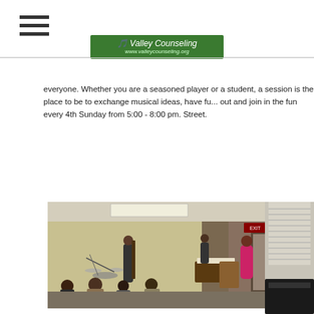[Navigation menu icon] [Valley Counseling logo/banner]
everyone. Whether you are a seasoned player or a student, a session is the place to be to exchange musical ideas, have fun, out and join in the fun every 4th Sunday from 5:00 - 8:00 pm. Street.
[Figure (photo): Indoor music jam session in a conference/meeting room. Musicians with drums, bass, keyboard visible. Audience seated in folding chairs. A woman in a bright pink/red dress stands near a podium on the right side. Fluorescent lighting, exit sign visible above a door.]
[Figure (photo): Partial view of another photo on the right edge, showing blinds/window and what appears to be a dark object (possibly a piano).]